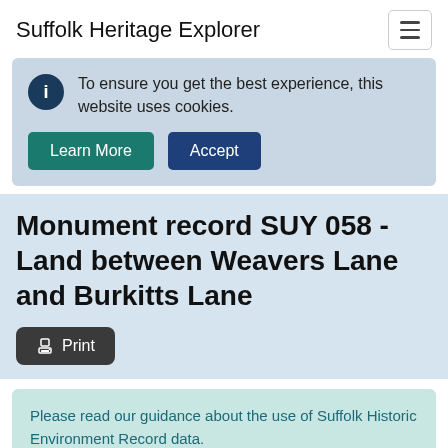Suffolk Heritage Explorer
To ensure you get the best experience, this website uses cookies.
Learn More
Accept
Monument record SUY 058 - Land between Weavers Lane and Burkitts Lane
Print
Please read our guidance about the use of Suffolk Historic Environment Record data.